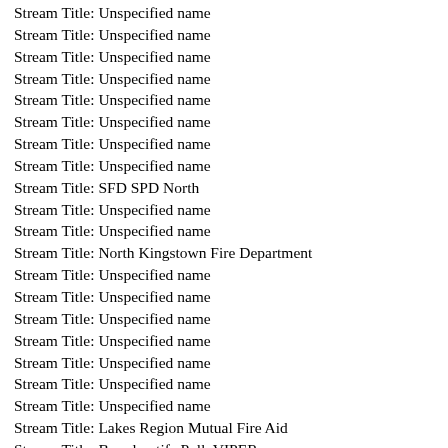Stream Title: Unspecified name
Stream Title: Unspecified name
Stream Title: Unspecified name
Stream Title: Unspecified name
Stream Title: Unspecified name
Stream Title: Unspecified name
Stream Title: Unspecified name
Stream Title: Unspecified name
Stream Title: SFD SPD North
Stream Title: Unspecified name
Stream Title: Unspecified name
Stream Title: North Kingstown Fire Department
Stream Title: Unspecified name
Stream Title: Unspecified name
Stream Title: Unspecified name
Stream Title: Unspecified name
Stream Title: Unspecified name
Stream Title: Unspecified name
Stream Title: Unspecified name
Stream Title: Lakes Region Mutual Fire Aid
Stream Title: Broadcastify.Polk.VIPER
Stream Title: Unspecified name
Stream Title: Unspecified name
Stream Title: Unspecified name
Stream Title: Unspecified name